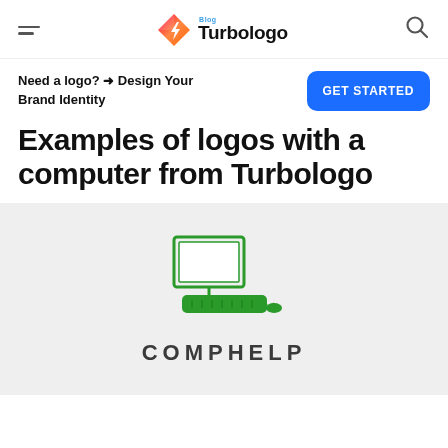Turbologo Blog
Need a logo? ➜ Design Your Brand Identity
Examples of logos with a computer from Turbologo
[Figure (logo): COMPHELP logo: green line-art laptop/computer icon above the text 'COMPHELP' in dark gray bold uppercase letters, on a light gray background]